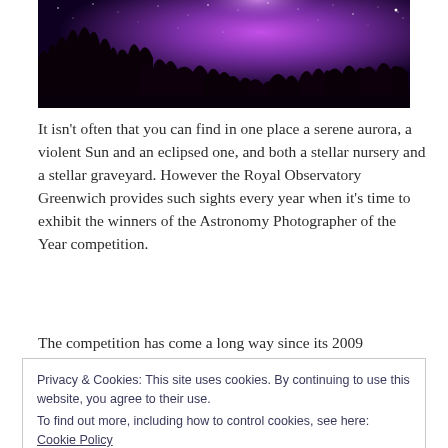[Figure (photo): Night sky photograph showing purple and pink Milky Way galaxy with silhouette of trees in the foreground]
It isn't often that you can find in one place a serene aurora, a violent Sun and an eclipsed one, and both a stellar nursery and a stellar graveyard. However the Royal Observatory Greenwich provides such sights every year when it's time to exhibit the winners of the Astronomy Photographer of the Year competition.
The competition has come a long way since its 2009
Privacy & Cookies: This site uses cookies. By continuing to use this website, you agree to their use.
To find out more, including how to control cookies, see here: Cookie Policy
competition. They're so popular that it's even been